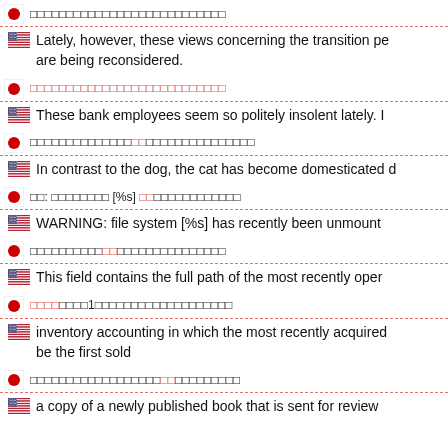Japanese text (red highlighted characters) + English: Lately, however, these views concerning the transition pe... are being reconsidered.
Japanese text + English: These bank employees seem so politely insolent lately. I...
Japanese text (red highlighted characters) + English: In contrast to the dog, the cat has become domesticated d...
Japanese: 警: [file system text] [%s] ... + English: WARNING: file system [%s] has recently been unmount...
Japanese text (red highlighted characters) + English: This field contains the full path of the most recently oper...
Japanese text (number 1 highlighted) + English: inventory accounting in which the most recently acquired... be the first sold
Japanese text (red highlighted characters) + English: a copy of a newly published book that is sent for review...